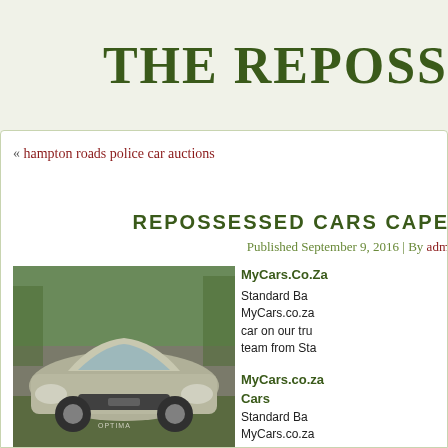The Reposs
« hampton roads police car auctions
REPOSSESSED CARS CAPE
Published September 9, 2016 | By adm
[Figure (photo): Front view of a silver Kia Optima sedan parked outdoors]
MyCars.Co.Za Standard Ba MyCars.co.za car on our tru team from Sta
MyCars.co.za Cars Standard Ba MyCars.co.za car on our tr Western Cape